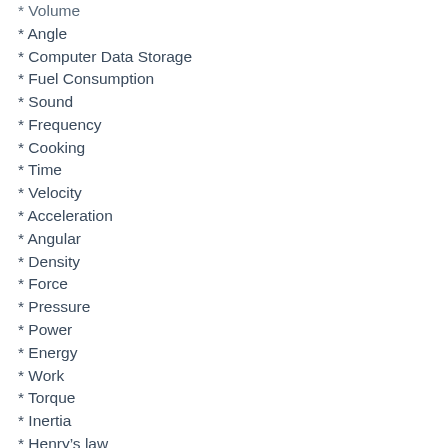* Volume
* Angle
* Computer Data Storage
* Fuel Consumption
* Sound
* Frequency
* Cooking
* Time
* Velocity
* Acceleration
* Angular
* Density
* Force
* Pressure
* Power
* Energy
* Work
* Torque
* Inertia
* Henry's law
* Astronomical
* Flow
* Flux Density
* Molar